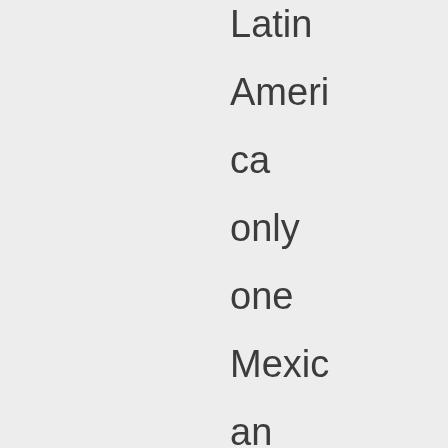Latin America only one Mexican accent is perceived. Outside. But inside Mexico there